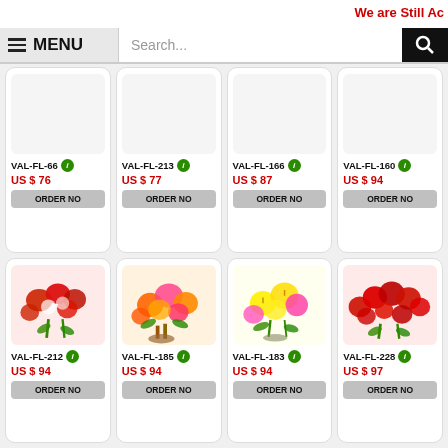We are Still Ac
MENU | Search...
VAL-FL-66 | US $ 76 | ORDER NO
VAL-FL-213 | US $ 77 | ORDER NO
VAL-FL-166 | US $ 87 | ORDER NO
VAL-FL-160 | US $ 94 | ORDER NO
VAL-FL-212 | US $ 94 | ORDER NO
VAL-FL-185 | US $ 94 | ORDER NO
VAL-FL-183 | US $ 94 | ORDER NO
VAL-FL-228 | US $ 97 | ORDER NO